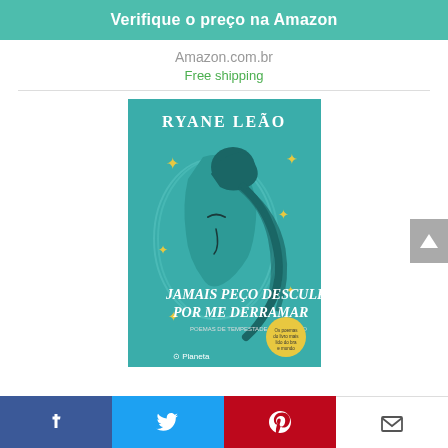Verifique o preço na Amazon
Amazon.com.br
Free shipping
[Figure (photo): Book cover of 'Jamais Peço Desculpas Por Me Derramar' by Ryane Leão, published by Planeta. Teal background with illustration of a woman's face in profile with decorative hair and gold star ornaments.]
[Figure (infographic): Social media sharing bar with Facebook, Twitter, Pinterest, and email icons]